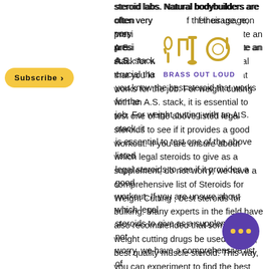[Figure (logo): Brass Out Loud logo with brass instruments icon in gold and purple text]
[Figure (other): Yellow Subscribe button with arrow]
steroid labs. Natural bodybuilders are often very proud of their usage, non prescription anabolic steroids. To create an A.S. stack for weight cutting, it is crucial that you know the best steroid that works for the job. For weight cutting with an A.S. stack, it is essential to test one of the above listed legal steroids to see if it provides a good workout. If you are unsure about which legal steroids to give as a supplement, do not worry, we have a comprehensive list of Steroids for Weight Cutting , best steroids for bulking. Many experts in the field have also recommended that some illegal weight cutting drugs be used as well, best quality muscle steroid. This way, you can experiment to find the best mix for cutting. The best of these illegal steroids is known as "W" which stands for "Whole Natural Growth Hormone", non prescription anabolic steroids. If you choose to use an illegal weight cutting drug, you
[Figure (other): Purple circle button with three gold dots (more options)]